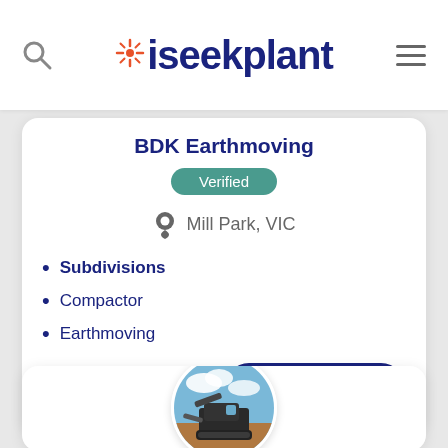iseekplant
BDK Earthmoving
Verified
Mill Park, VIC
Subdivisions
Compactor
Earthmoving
Get a Quote
[Figure (photo): Circular cropped photo of an excavator on a construction site with blue sky in background]